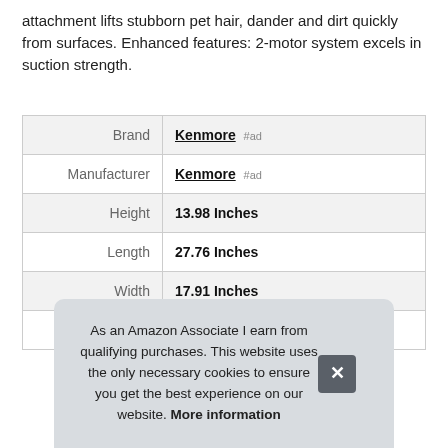attachment lifts stubborn pet hair, dander and dirt quickly from surfaces. Enhanced features: 2-motor system excels in suction strength.
|  |  |
| --- | --- |
| Brand | Kenmore #ad |
| Manufacturer | Kenmore #ad |
| Height | 13.98 Inches |
| Length | 27.76 Inches |
| Width | 17.91 Inches |
| Part Number | 2081714 |
As an Amazon Associate I earn from qualifying purchases. This website uses the only necessary cookies to ensure you get the best experience on our website. More information